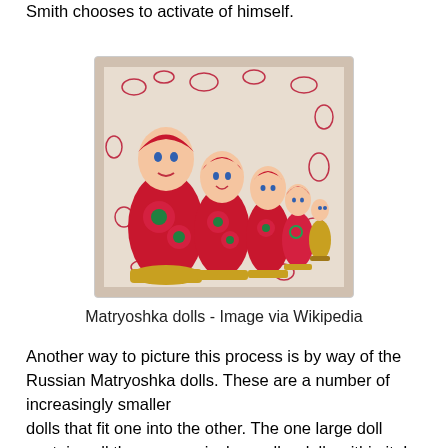Smith chooses to activate of himself.
[Figure (photo): Photograph of a set of Matryoshka (Russian nesting) dolls of decreasing sizes arranged from largest to smallest, decorated with red floral patterns on a white embroidered cloth background.]
Matryoshka dolls - Image via Wikipedia
Another way to picture this process is by way of the Russian Matryoshka dolls. These are a number of increasingly smaller dolls that fit one into the other. The one large doll contains all the progressively smaller dolls within it. In this state, the one large doll can be pictured as Spirit. When the smaller dolls are removed from the larger doll to be played with, they can be pictured as different aspects ( Souls ) of the one largest doll. Once these smaller dolls are replaced one-within-the-